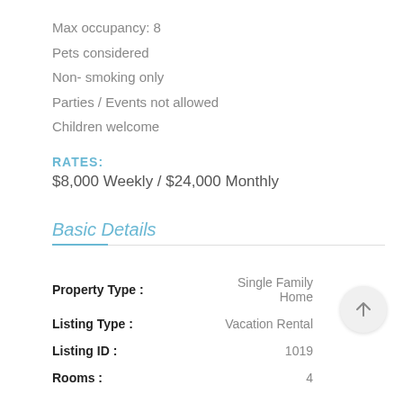Max occupancy: 8
Pets considered
Non- smoking only
Parties / Events not allowed
Children welcome
RATES:
$8,000 Weekly / $24,000 Monthly
Basic Details
|  |  |
| --- | --- |
| Property Type : | Single Family Home |
| Listing Type : | Vacation Rental |
| Listing ID : | 1019 |
| Rooms : | 4 |